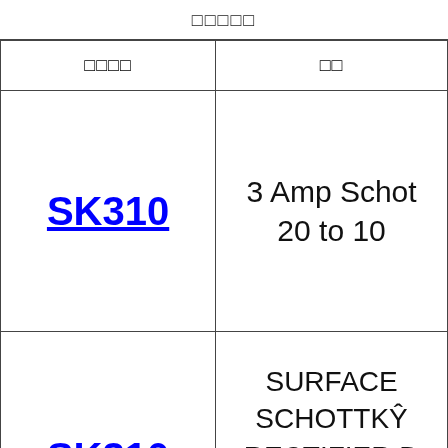□□□□□
| □□□□ | □□ |
| --- | --- |
| SK310 | 3 Amp Schott… 20 to 10… |
| SK310 | SURFACE SCHOTTKTY RECTIFIER … 20 to 100 Volt… - 3 0 Am… |